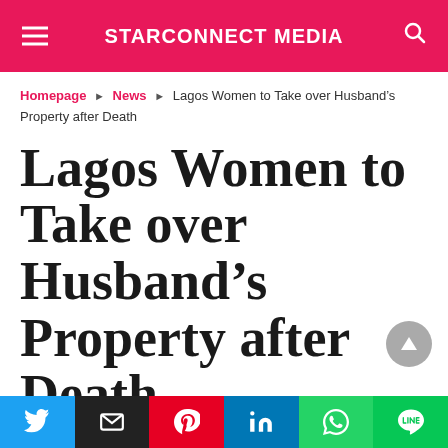STARCONNECT MEDIA
Homepage ▶ News ▶ Lagos Women to Take over Husband's Property after Death
Lagos Women to Take over Husband's Property after Death